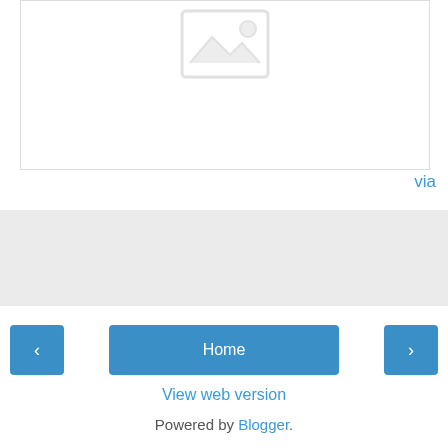[Figure (illustration): Broken/placeholder image icon — gray mountain/image symbol on white background with border]
via
[Figure (screenshot): Gray share bar with a blue Share button]
Share
< Home >
View web version
Powered by Blogger.